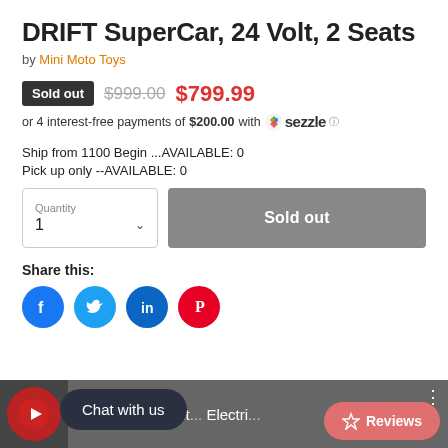DRIFT SuperCar, 24 Volt, 2 Seats
by Mini Moto Toys
Sold out  $999.00  $799.99
or 4 interest-free payments of $200.00 with sezzle
Ship from 1100 Begin ...AVAILABLE: 0
Pick up only --AVAILABLE: 0
Quantity 1  Sold out
Share this:
[Figure (screenshot): Social share icons: Facebook, Twitter, LinkedIn, Pinterest]
[Figure (screenshot): Video thumbnail bar showing 'entador SVJ drift... Electri...' with Chat with us bubble and Reviews button]